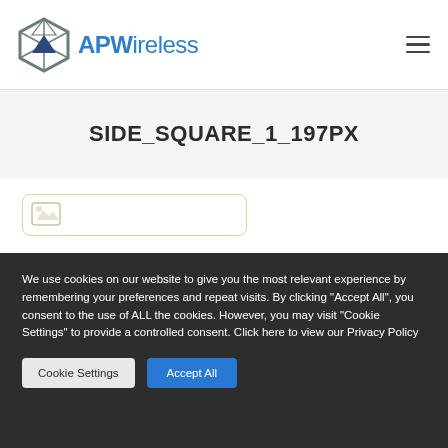[Figure (logo): APWireless logo with hexagonal icon and blue text]
SIDE_SQUARE_1_197PX
[Figure (illustration): Partial placeholder image box with rounded corners and light gold/yellow border, partially visible]
We use cookies on our website to give you the most relevant experience by remembering your preferences and repeat visits. By clicking “Accept All”, you consent to the use of ALL the cookies. However, you may visit "Cookie Settings" to provide a controlled consent. Click here to view our Privacy Policy
Cookie Settings
Accept All